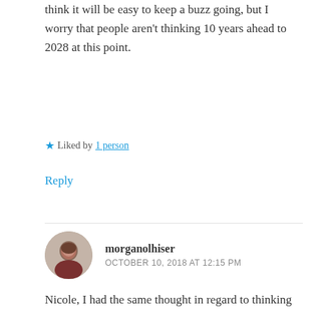think it will be easy to keep a buzz going, but I worry that people aren't thinking 10 years ahead to 2028 at this point.
★ Liked by 1 person
Reply
morganolhiser
OCTOBER 10, 2018 AT 12:15 PM
Nicole, I had the same thought in regard to thinking 10 years ahead. I can see how important it is for the Olympic committee and people more closely involved to start planning and organizing now, but I worry that the public will not really